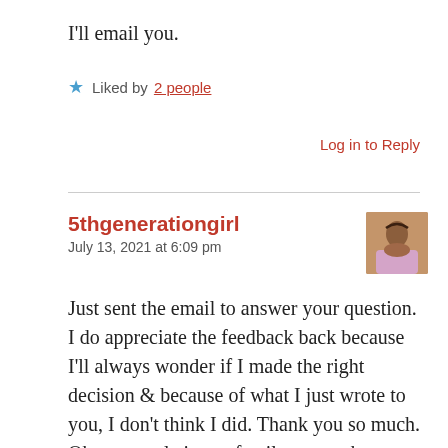I'll email you.
Liked by 2 people
Log in to Reply
5thgenerationgirl
July 13, 2021 at 6:09 pm
Just sent the email to answer your question. I do appreciate the feedback back because I'll always wonder if I made the right decision & because of what I just wrote to you, I don't think I did. Thank you so much. Oh ps, people in my family, co workers etc don't get why I'm so jumpy, cautious, protective and don't trust anyone. So I figured before I die, I'd